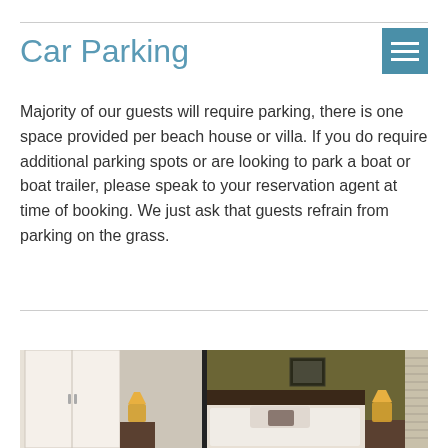Car Parking
Majority of our guests will require parking, there is one space provided per beach house or villa. If you do require additional parking spots or are looking to park a boat or boat trailer, please speak to your reservation agent at time of booking. We just ask that guests refrain from parking on the grass.
[Figure (photo): Interior photo of a hotel bedroom with a double bed with white bedding and a grey pillow, two bedside lamps, a wardrobe on the left, an olive/dark yellow wall behind the bed with a framed picture, and window blinds on the right.]